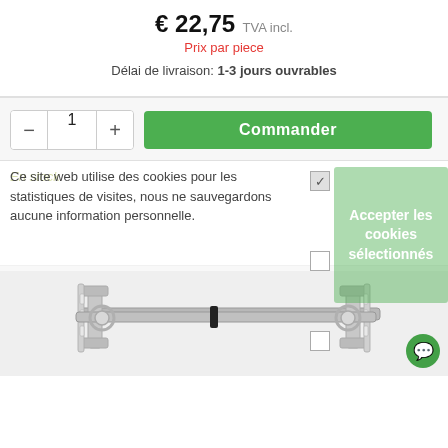€ 22,75 TVA incl.
Prix par piece
Délai de livraison: 1-3 jours ouvrables
1
Commander
En stock
Ce site web utilise des cookies pour les statistiques de visites, nous ne sauvegardons aucune information personnelle.
Accepter les cookies sélectionnés
[Figure (photo): Metal wall mounting bracket for TV or shelving, silver/chrome finish, seen from below]